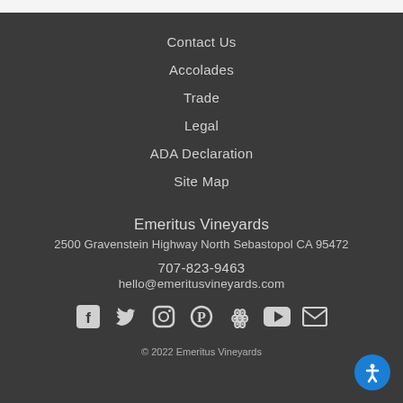Contact Us
Accolades
Trade
Legal
ADA Declaration
Site Map
Emeritus Vineyards
2500 Gravenstein Highway North Sebastopol CA 95472
707-823-9463
hello@emeritusvineyards.com
[Figure (infographic): Social media icons row: Facebook, Twitter, Instagram, Pinterest, Yelp, YouTube, Email]
© 2022 Emeritus Vineyards